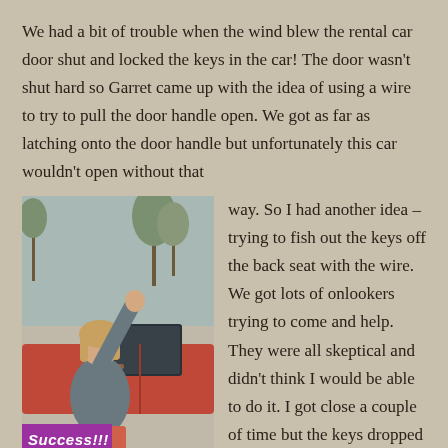We had a bit of trouble when the wind blew the rental car door shut and locked the keys in the car! The door wasn't shut hard so Garret came up with the idea of using a wire to try to pull the door handle open. We got as far as latching onto the door handle but unfortunately this car wouldn't open without that way. So I had another idea – trying to fish out the keys off the back seat with the wire. We got lots of onlookers trying to come and help. They were all skeptical and didn't think I would be able to do it. I got close a couple of time but the keys dropped off my wire as I
[Figure (photo): Woman standing next to a red car with her arm raised in celebration. Trees visible in background. Purple 'Success!!!' badge in bottom left corner.]